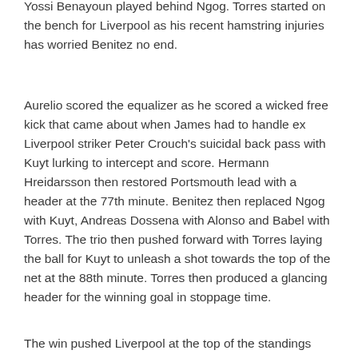Yossi Benayoun played behind Ngog. Torres started on the bench for Liverpool as his recent hamstring injuries has worried Benitez no end.
Aurelio scored the equalizer as he scored a wicked free kick that came about when James had to handle ex Liverpool striker Peter Crouch's suicidal back pass with Kuyt lurking to intercept and score. Hermann Hreidarsson then restored Portsmouth lead with a header at the 77th minute. Benitez then replaced Ngog with Kuyt, Andreas Dossena with Alonso and Babel with Torres. The trio then pushed forward with Torres laying the ball for Kuyt to unleash a shot towards the top of the net at the 88th minute. Torres then produced a glancing header for the winning goal in stoppage time.
The win pushed Liverpool at the top of the standings